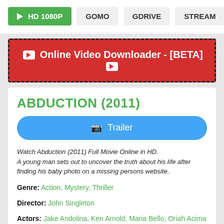[Figure (screenshot): Navigation buttons: HD 1080P (green), GOMO, GDRIVE, STREAM (gray)]
[Figure (infographic): Red banner with dashed black border reading 'Online Video Downloader - [BETA]' with YouTube-style icons]
ABDUCTION (2011)
[Figure (other): Blue rounded Trailer button with camera icon]
Watch Abduction (2011) Full Movie Online in HD. A young man sets out to uncover the truth about his life after finding his baby photo on a missing persons website.
Genre: Action, Mystery, Thriller
Director: John Singleton
Actors: Jake Andolina, Ken Arnold, Maria Bello, Oriah Acima Andrews
Country: USA
Duration: 106